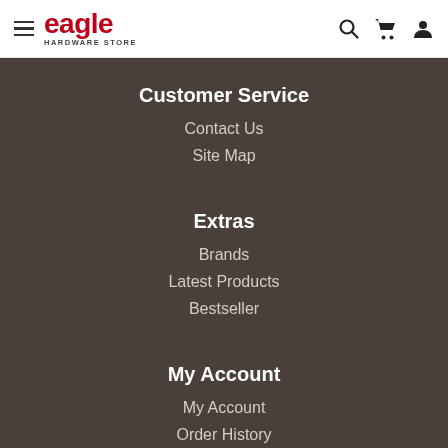eagle HARDWARE STORE
Customer Service
Contact Us
Site Map
Extras
Brands
Latest Products
Bestseller
My Account
My Account
Order History